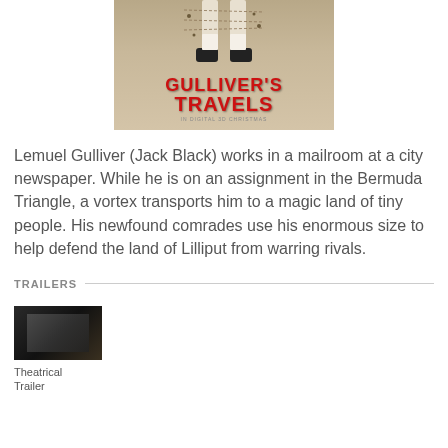[Figure (photo): Movie poster for Gulliver's Travels showing giant legs tied down with text 'GULLIVER'S TRAVELS IN DIGITAL 3D CHRISTMAS']
Lemuel Gulliver (Jack Black) works in a mailroom at a city newspaper. While he is on an assignment in the Bermuda Triangle, a vortex transports him to a magic land of tiny people. His newfound comrades use his enormous size to help defend the land of Lilliput from warring rivals.
TRAILERS
[Figure (screenshot): Theatrical trailer thumbnail showing a dark indoor scene]
Theatrical Trailer